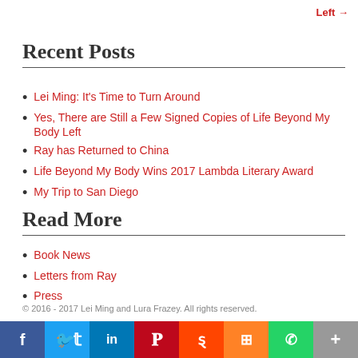Left →
Recent Posts
Lei Ming: It's Time to Turn Around
Yes, There are Still a Few Signed Copies of Life Beyond My Body Left
Ray has Returned to China
Life Beyond My Body Wins 2017 Lambda Literary Award
My Trip to San Diego
Read More
Book News
Letters from Ray
Press
© 2016 - 2017 Lei Ming and Lura Frazey. All rights reserved.